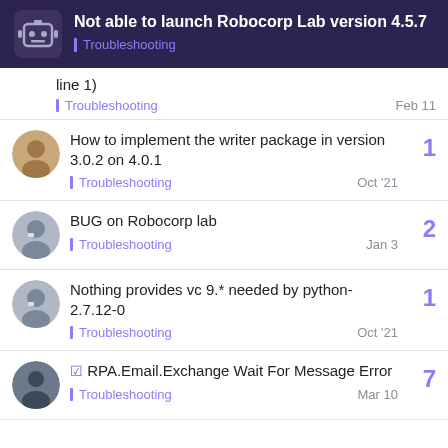Not able to launch Robocorp Lab version 4.5.7 | Troubleshooting
line 1)
Troubleshooting
Feb 11
How to implement the writer package in version 3.0.2 on 4.0.1
Troubleshooting
Oct '21
1
BUG on Robocorp lab
Troubleshooting
Jan 3
2
Nothing provides vc 9.* needed by python-2.7.12-0
Troubleshooting
Oct '21
1
✓ RPA.Email.Exchange Wait For Message Error
Troubleshooting
Mar 10
7